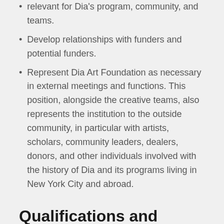relevant for Dia's program, community, and teams.
Develop relationships with funders and potential funders.
Represent Dia Art Foundation as necessary in external meetings and functions. This position, alongside the creative teams, also represents the institution to the outside community, in particular with artists, scholars, community leaders, dealers, donors, and other individuals involved with the history of Dia and its programs living in New York City and abroad.
Qualifications and Key Competencies